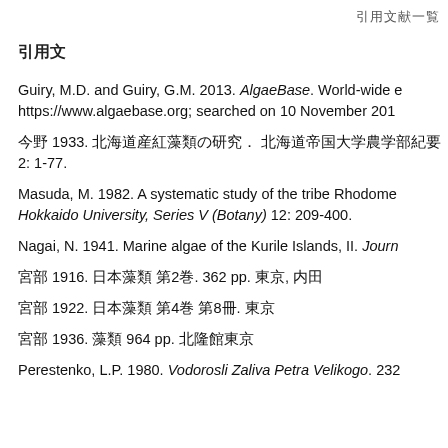引用文献
引用文
Guiry, M.D. and Guiry, G.M. 2013. AlgaeBase. World-wide electronic publication, National University of Ireland, Galway. https://www.algaebase.org; searched on 10 November 2013.
今野 1933. 北海道産紅藻類の研究. 北海道帝国大学農学部紀要 2: 1-77.
Masuda, M. 1982. A systematic study of the tribe Rhodomeleae (Rhodomelaceae, Rhodophyta). Scientific Papers of the Institute of Algological Research, Faculty of Science, Hokkaido University, Series V (Botany) 12: 209-400.
Nagai, N. 1941. Marine algae of the Kurile Islands, II. Journal of the Faculty of Agriculture, Hokkaido Imperial University.
宮部 1916. 日本藻類 第2巻. 362 pp. 東京, 内田
宮部 1922. 日本藻類 第4巻 第8冊. 東京
宮部 1936. 藻類 964 pp. 北隆館東京
Perestenko, L.P. 1980. Vodorosli Zaliva Petra Velikogo. 232 pp.